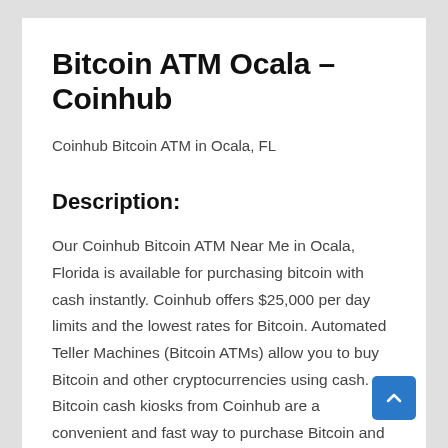Bitcoin ATM Ocala – Coinhub
Coinhub Bitcoin ATM in Ocala, FL
Description:
Our Coinhub Bitcoin ATM Near Me in Ocala, Florida is available for purchasing bitcoin with cash instantly. Coinhub offers $25,000 per day limits and the lowest rates for Bitcoin. Automated Teller Machines (Bitcoin ATMs) allow you to buy Bitcoin and other cryptocurrencies using cash. Bitcoin cash kiosks from Coinhub are a convenient and fast way to purchase Bitcoin and receive it in minutes directly into your wallet. Coinhub Bitcoin machines are easy to use and